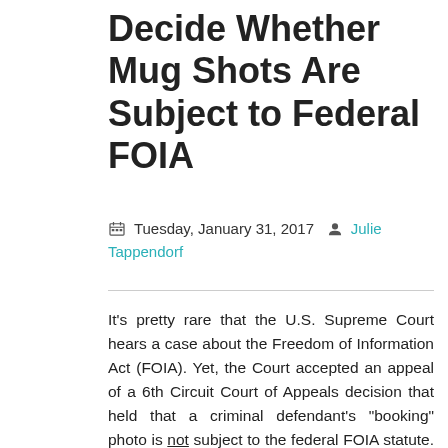Decide Whether Mug Shots Are Subject to Federal FOIA
Tuesday, January 31, 2017  Julie Tappendorf
It's pretty rare that the U.S. Supreme Court hears a case about the Freedom of Information Act (FOIA). Yet, the Court accepted an appeal of a 6th Circuit Court of Appeals decision that held that a criminal defendant's "booking" photo is not subject to the federal FOIA statute. In Detroit Free Press v. U.S. Department of Justice, the 6th Circuit Court of Appeals determined that a criminal defendant has a "non-trivial" privacy interest